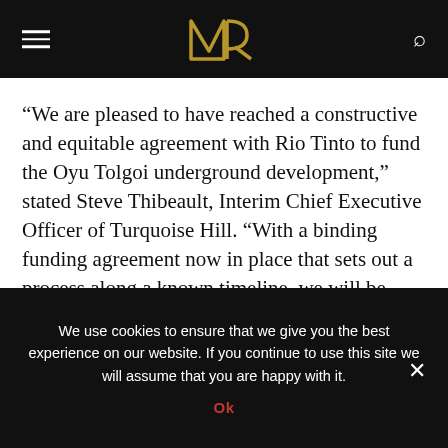MR
“We are pleased to have reached a constructive and equitable agreement with Rio Tinto to fund the Oyu Tolgoi underground development,” stated Steve Thibeault, Interim Chief Executive Officer of Turquoise Hill. “With a binding funding agreement now in place that sets out a process along a known timeline, we will be able to move ahead as expeditiously as possible with the development of the underground project at Oyu Tolgoi. We remain committed to continue delivering a benefit to all stakeholders, including Mongolia and its
We use cookies to ensure that we give you the best experience on our website. If you continue to use this site we will assume that you are happy with it.
Ok